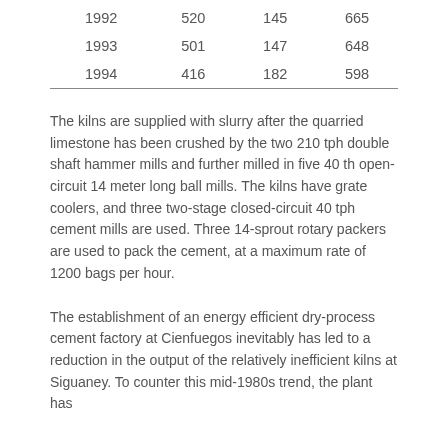| 1992 | 520 | 145 | 665 |
| 1993 | 501 | 147 | 648 |
| 1994 | 416 | 182 | 598 |
The kilns are supplied with slurry after the quarried limestone has been crushed by the two 210 tph double shaft hammer mills and further milled in five 40 th open-circuit 14 meter long ball mills. The kilns have grate coolers, and three two-stage closed-circuit 40 tph cement mills are used. Three 14-sprout rotary packers are used to pack the cement, at a maximum rate of 1200 bags per hour.
The establishment of an energy efficient dry-process cement factory at Cienfuegos inevitably has led to a reduction in the output of the relatively inefficient kilns at Siguaney. To counter this mid-1980s trend, the plant has